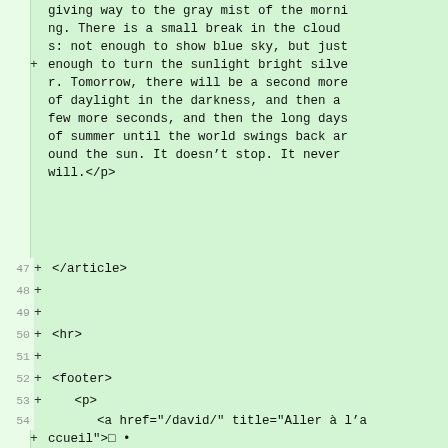giving way to the gray mist of the morning. There is a small break in the clouds: not enough to show blue sky, but just
+ enough to turn the sunlight bright silver. Tomorrow, there will be a second more of daylight in the darkness, and then a few more seconds, and then the long days of summer until the world swings back around the sun. It doesn’t stop. It never will.</p>
47  + </article>
48  +
49  +
50  + <hr>
51  +
52  + <footer>
53  +   <p>
54      <a href="/david/" title="Aller à l’accueil">□</a> •
55      <a href="/david/log/" title="Accès au flux RSS">□</a> •
56      <a href="http://larlet.com" title="G